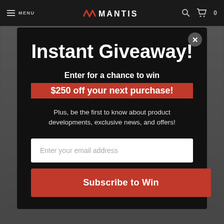MENU | MANTIS | 0
Instant Giveaway!
Enter for a chance to win $250 off your next purchase!
Plus, be the first to know about product developments, exclusive news, and offers!
Enter your email address
Subscribe to Win